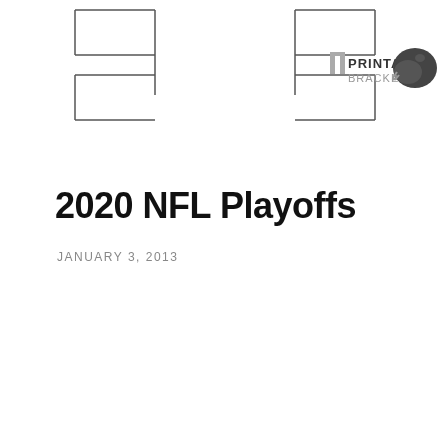[Figure (other): Partial tournament bracket graphic with bracket lines on left and right sides, and a 'Printable Brackets' logo with football helmet in the center top area]
2020 NFL Playoffs
JANUARY 3, 2013